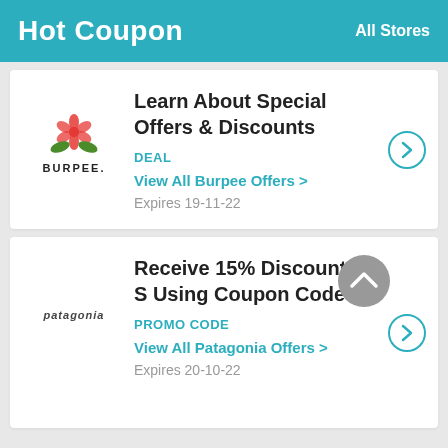Hot Coupon   All Stores
Learn About Special Offers & Discounts
DEAL
View All Burpee Offers >
Expires 19-11-22
Receive 15% Discount S Using Coupon Code
PROMO CODE
View All Patagonia Offers >
Expires 20-10-22